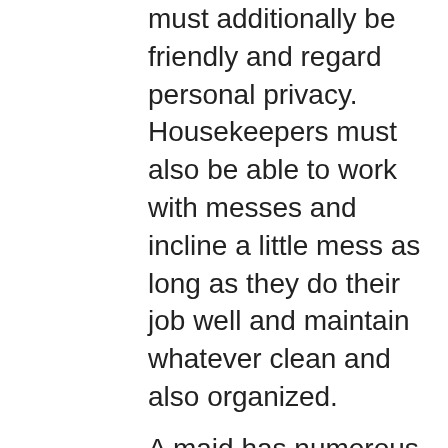must additionally be friendly and regard personal privacy. Housekeepers must also be able to work with messes and incline a little mess as long as they do their job well and maintain whatever clean and also organized.
A maid has numerous skills that will certainly make him a terrific option for any type of household. They can be a great option for those who are seeking a trustworthy as well as credible person to take care of their house. Caretakers are anticipated to be self-starters, as they look after tradesmen. They also take care of household stock as well as create systems throughout the residence. A good house cleaner will certainly also take